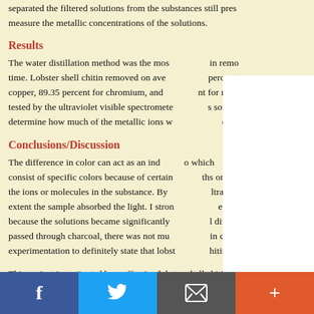separated the filtered solutions from the substances still present to measure the metallic concentrations of the solutions.
Results
The water distillation method was the most effective in removing metals over time. Lobster shell chitin removed on average 93.50 percent for copper, 89.35 percent for chromium, and 88.08 percent for nickel. When tested by the ultraviolet visible spectrometer, the results were somewhat hard to determine how much of the metallic ions were removed by charcoal.
Conclusions/Discussion
The difference in color can act as an indicator to which ions are present. Solutions consist of specific colors because of certain wavelengths or colors absorbed by the ions or molecules in the substance. By using an Ultraviolet spectrometer, we can measure the extent the sample absorbed the light. I strongly believe that lobster shell chitin works because the solutions became significantly different after it was used. If the sample passed through charcoal, there was not much of a change in color which requires more experimentation to definitely state that lobster shell chitin was
This project investigated how effective lobster shell chitin was